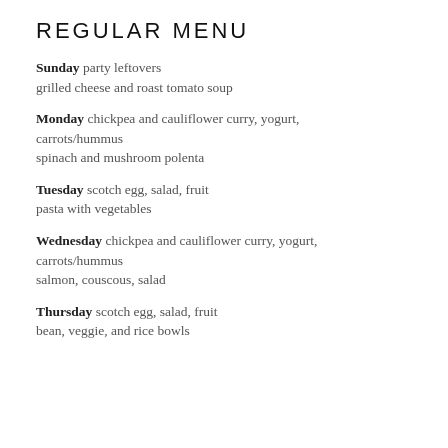REGULAR MENU
Sunday party leftovers
grilled cheese and roast tomato soup
Monday chickpea and cauliflower curry, yogurt, carrots/hummus
spinach and mushroom polenta
Tuesday scotch egg, salad, fruit
pasta with vegetables
Wednesday chickpea and cauliflower curry, yogurt, carrots/hummus
salmon, couscous, salad
Thursday scotch egg, salad, fruit
bean, veggie, and rice bowls